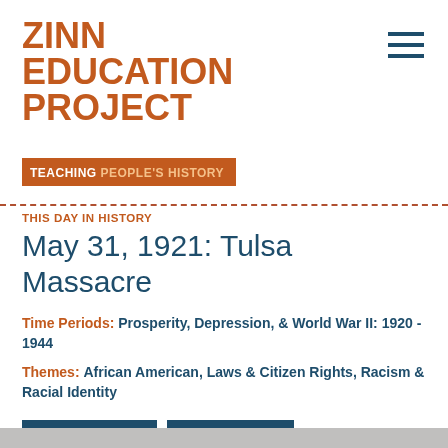ZINN EDUCATION PROJECT
TEACHING PEOPLE'S HISTORY
THIS DAY IN HISTORY
May 31, 1921: Tulsa Massacre
Time Periods: Prosperity, Depression, & World War II: 1920 - 1944
Themes: African American, Laws & Citizen Rights, Racism & Racial Identity
Share  Print